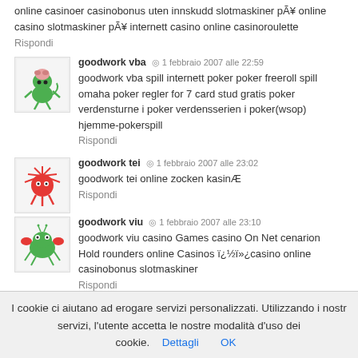online casinoer casinobonus uten innskudd slotmaskiner på online casino slotmaskiner på internett casino online casinoroulette
Rispondi
goodwork vba ◎ 1 febbraio 2007 alle 22:59
goodwork vba spill internett poker poker freeroll spill omaha poker regler for 7 card stud gratis poker verdensturne i poker verdensserien i poker(wsop) hjemme-pokerspill
Rispondi
goodwork tei ◎ 1 febbraio 2007 alle 23:02
goodwork tei online zocken kasinÆ
Rispondi
goodwork viu ◎ 1 febbraio 2007 alle 23:10
goodwork viu casino Games casino On Net cenarion Hold rounders online Casinos ï¿½ï»¿casino online casinobonus slotmaskiner
Rispondi
I cookie ci aiutano ad erogare servizi personalizzati. Utilizzando i nostri servizi, l'utente accetta le nostre modalità d'uso dei cookie. Dettagli OK